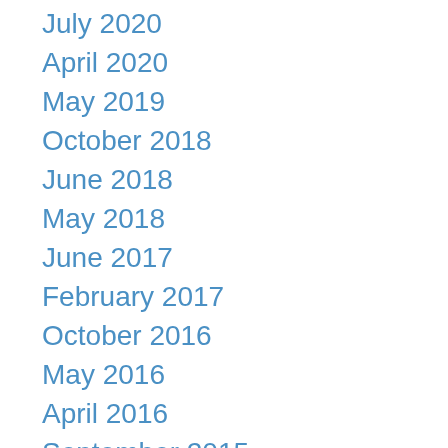July 2020
April 2020
May 2019
October 2018
June 2018
May 2018
June 2017
February 2017
October 2016
May 2016
April 2016
September 2015
August 2015
July 2015
June 2015